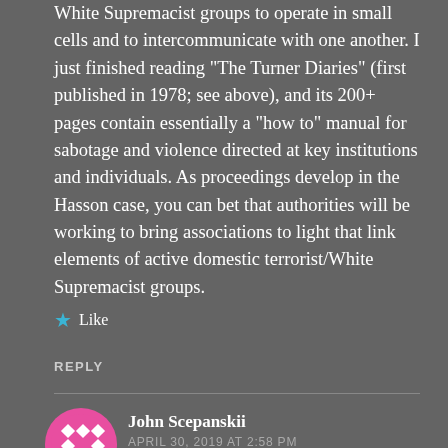White Supremacist groups to operate in small cells and to intercommunicate with one another. I just finished reading “The Turner Diaries” (first published in 1978; see above), and its 200+ pages contain essentially a “how to” manual for sabotage and violence directed at key institutions and individuals. As proceedings develop in the Hasson case, you can bet that authorities will be working to bring associations to light that link elements of active domestic terrorist/White Supremacist groups.
Like
REPLY
[Figure (illustration): Pink and white geometric avatar icon for John Scepanskii]
John Scepanskii
APRIL 30, 2019 AT 2:58 PM
There’s an old joke that says if the FBI withheld their annual dues